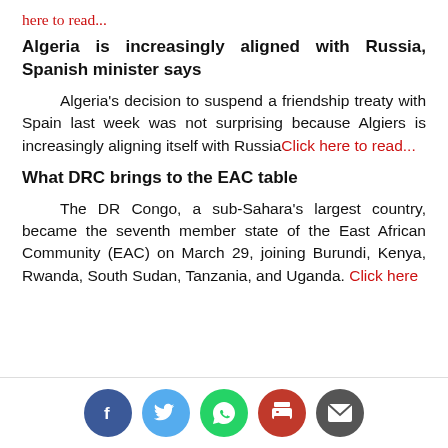here to read...
Algeria is increasingly aligned with Russia, Spanish minister says
Algeria's decision to suspend a friendship treaty with Spain last week was not surprising because Algiers is increasingly aligning itself with RussiaClick here to read...
What DRC brings to the EAC table
The DR Congo, a sub-Sahara's largest country, became the seventh member state of the East African Community (EAC) on March 29, joining Burundi, Kenya, Rwanda, South Sudan, Tanzania, and Uganda. Click here
[Figure (infographic): Social media share icons: Facebook (blue), Twitter (light blue), WhatsApp (green), Print (red), Email (dark gray)]